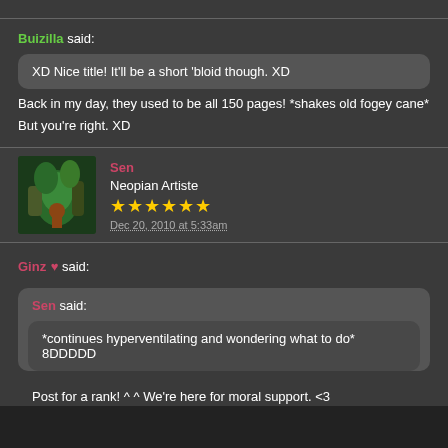Buizilla said:
XD Nice title! It'll be a short 'bloid though. XD
Back in my day, they used to be all 150 pages! *shakes old fogey cane*
But you're right. XD
Sen — Neopian Artiste — ★★★★★★ — Dec 20, 2010 at 5:33am
Ginz ♥ said:
Sen said:
*continues hyperventilating and wondering what to do* 8DDDDD
Post for a rank! ^ ^ We're here for moral support. <3